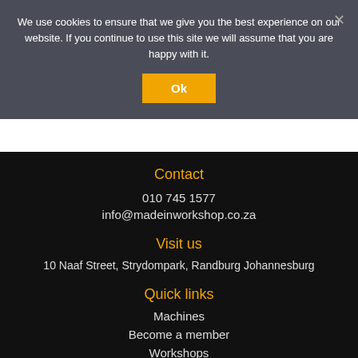We use cookies to ensure that we give you the best experience on our website. If you continue to use this site we will assume that you are happy with it.
Ok
Contact
010 745 1577
info@madeinworkshop.co.za
Visit us
10 Naaf Street, Strydompark, Randburg Johannesburg
Quick links
Machines
Become a member
Workshops
Find a maker
Sign up for our monthly newsletter